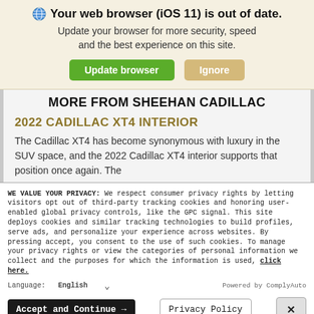🌐 Your web browser (iOS 11) is out of date. Update your browser for more security, speed and the best experience on this site.
Update browser | Ignore
MORE FROM SHEEHAN CADILLAC
2022 CADILLAC XT4 INTERIOR
The Cadillac XT4 has become synonymous with luxury in the SUV space, and the 2022 Cadillac XT4 interior supports that position once again. The
WE VALUE YOUR PRIVACY: We respect consumer privacy rights by letting visitors opt out of third-party tracking cookies and honoring user-enabled global privacy controls, like the GPC signal. This site deploys cookies and similar tracking technologies to build profiles, serve ads, and personalize your experience across websites. By pressing accept, you consent to the use of such cookies. To manage your privacy rights or view the categories of personal information we collect and the purposes for which the information is used, click here.
Language: English ∨ Powered by ComplyAuto
Accept and Continue → | Privacy Policy | ×